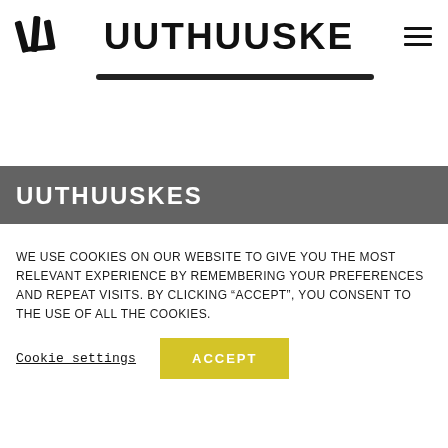UUTHUUSKE
UUTHUUSKES
WE USE COOKIES ON OUR WEBSITE TO GIVE YOU THE MOST RELEVANT EXPERIENCE BY REMEMBERING YOUR PREFERENCES AND REPEAT VISITS. BY CLICKING “ACCEPT”, YOU CONSENT TO THE USE OF ALL THE COOKIES.
Cookie settings   ACCEPT